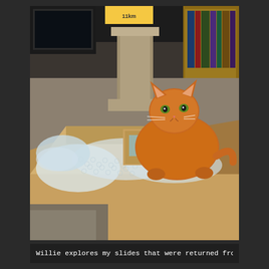[Figure (photo): An orange tabby cat standing inside an open cardboard box with bubble wrap spread across the bottom. In the background there is a cat tree/scratching post, a bookshelf with books visible, and another smaller cardboard box. The scene appears to be in a living room with carpet flooring.]
Willie explores my slides that were returned from Sports Illus